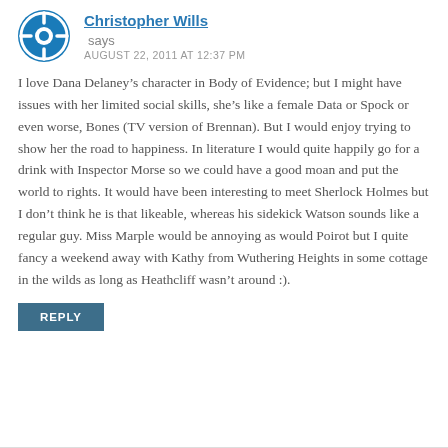Christopher Wills says
AUGUST 22, 2011 AT 12:37 PM
I love Dana Delaney’s character in Body of Evidence; but I might have issues with her limited social skills, she’s like a female Data or Spock or even worse, Bones (TV version of Brennan). But I would enjoy trying to show her the road to happiness. In literature I would quite happily go for a drink with Inspector Morse so we could have a good moan and put the world to rights. It would have been interesting to meet Sherlock Holmes but I don’t think he is that likeable, whereas his sidekick Watson sounds like a regular guy. Miss Marple would be annoying as would Poirot but I quite fancy a weekend away with Kathy from Wuthering Heights in some cottage in the wilds as long as Heathcliff wasn’t around :).
REPLY